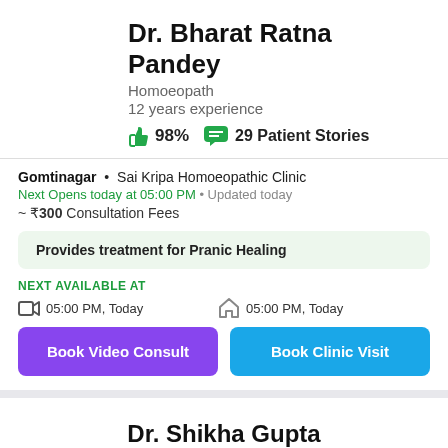Dr. Bharat Ratna Pandey
Homoeopath
12 years experience
98% 29 Patient Stories
Gomtinagar • Sai Kripa Homoeopathic Clinic
Next Opens today at 05:00 PM • Updated today
~ ₹300 Consultation Fees
Provides treatment for Pranic Healing
NEXT AVAILABLE AT
05:00 PM, Today   05:00 PM, Today
Book Video Consult
Book Clinic Visit
Dr. Shikha Gupta